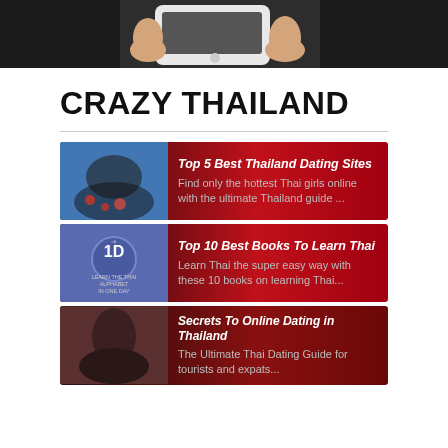[Figure (photo): Close-up of a hand holding a white smartphone, dark background]
CRAZY THAILAND
[Figure (infographic): Card: Top 5 Best Thailand Dating Sites - Find only the hottest Thai girls online with the ultimate Thailand guide ...]
[Figure (infographic): Card: Top 10 Best Books To Learn Thai - Learn Thai the super easy way with these 10 books on learning Thai...]
[Figure (infographic): Card: Secrets To Online Dating in Thailand - The Ultimate Thai Dating Guide for tourists and expats...]